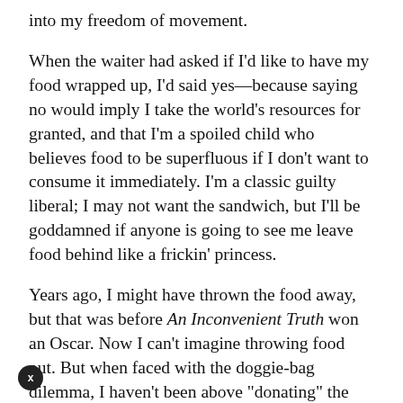into my freedom of movement.
When the waiter had asked if I'd like to have my food wrapped up, I'd said yes—because saying no would imply I take the world's resources for granted, and that I'm a spoiled child who believes food to be superfluous if I don't want to consume it immediately. I'm a classic guilty liberal; I may not want the sandwich, but I'll be goddamned if anyone is going to see me leave food behind like a frickin' princess.
Years ago, I might have thrown the food away, but that was before An Inconvenient Truth won an Oscar. Now I can't imagine throwing food out. But when faced with the doggie-bag dilemma, I haven't been above "donating" the food to the universe. Which is to say I've left the bag on top of a closed trashcan or on a planter—somewhere